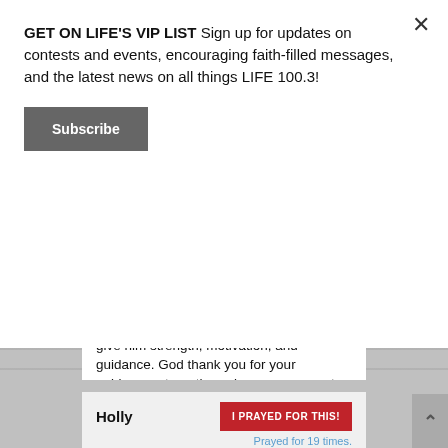GET ON LIFE'S VIP LIST Sign up for updates on contests and events, encouraging faith-filled messages, and the latest news on all things LIFE 100.3!
Subscribe
give him strength, motivation, and guidance. God thank you for your guidance, strength, and encouragement. In Jesus name, Amen. God bless.
Posted on July 9th, 2021
Holly
I PRAYED FOR THIS!
Prayed for 19 times.
Please pray my